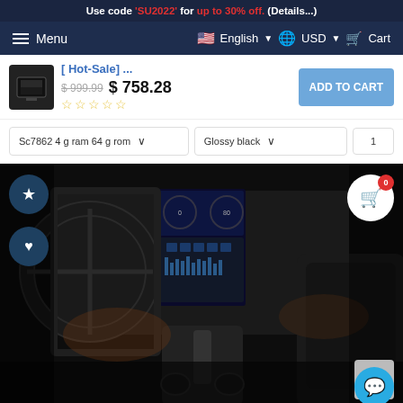Use code 'SU2022' for up to 30% off. (Details...)
Menu | English | USD | Cart
[ Hot-Sale] ... $999.99 $758.28 ☆☆☆☆☆
ADD TO CART
Sc7862 4 g ram 64 g rom ∨  Glossy black ∨  1
[Figure (photo): Car interior showing dashboard with large touchscreen infotainment system, steering wheel, gear shift, center console with cup holders, and seats — Jeep Grand Cherokee interior.]
WARDS
©GetButton